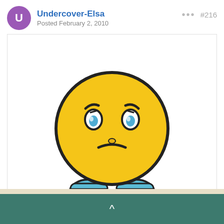Undercover-Elsa
Posted February 2, 2010
#216
[Figure (illustration): Tinypic broken image placeholder: a sad yellow emoji face with orange ear accessories and blue gloved hands, with the tinypic logo below it. Text reads: This image is no longer available. Visit tinypic.com for more information.]
^